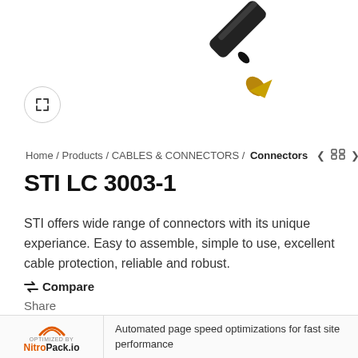[Figure (photo): Close-up photo of a gold-tipped audio/connector plug (STI LC 3003-1), showing a black cylindrical body with a shiny gold connector tip, angled diagonally against a white background.]
Home / Products / CABLES & CONNECTORS / Connectors
STI LC 3003-1
STI offers wide range of connectors with its unique experiance. Easy to assemble, simple to use, excellent cable protection, reliable and robust.
⇄ Compare
Share
Facebook Twitter Pinterest linkedin Telegram
Automated page speed optimizations for fast site performance